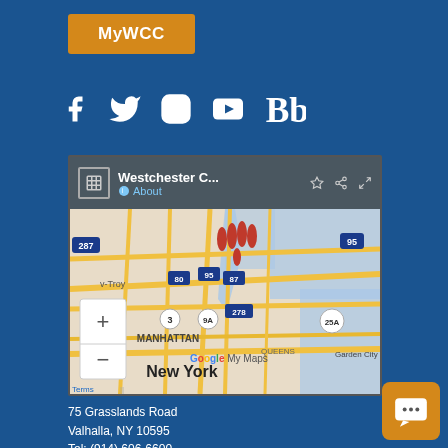MyWCC
[Figure (screenshot): Social media icons: Facebook, Twitter, Instagram, YouTube, Blackboard]
[Figure (map): Google My Maps showing Westchester Community College location near New York, Manhattan area with red location pins]
75 Grasslands Road
Valhalla, NY 10595
Tel: (914) 606-6600
Site Map
Webmaster
Legal